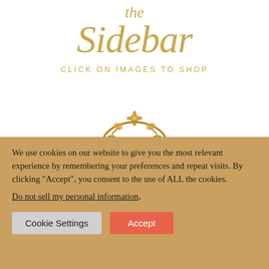the Sidebar
CLICK ON IMAGES TO SHOP
[Figure (illustration): Ornate gold baroque decorative crown/finial element at the top of a mirror or frame]
We use cookies on our website to give you the most relevant experience by remembering your preferences and repeat visits. By clicking “Accept”, you consent to the use of ALL the cookies.
Do not sell my personal information.
Cookie Settings  Accept